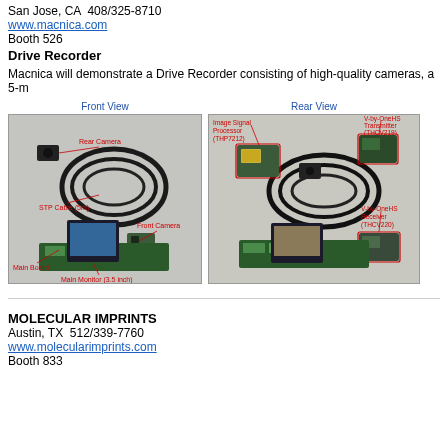San Jose, CA  408/325-8710
www.macnica.com
Booth 526
Drive Recorder
Macnica will demonstrate a Drive Recorder consisting of high-quality cameras, a 5-m
[Figure (photo): Two-panel photo of a Drive Recorder system. Left panel labeled 'Front View' shows: Rear Camera, STP Cable (5m), Front Camera, Main Board, Main Monitor (3.5 inch). Right panel labeled 'Rear View' shows: Image Signal Processor (THP7212), V-by-OneHS Transmitter (THCV219), V-by-OneHS Receiver (THCV220).]
MOLECULAR IMPRINTS
Austin, TX  512/339-7760
www.molecularimprints.com
Booth 833